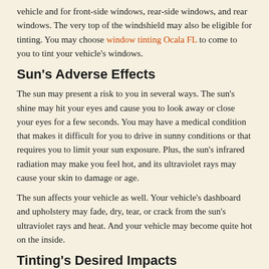vehicle and for front-side windows, rear-side windows, and rear windows. The very top of the windshield may also be eligible for tinting. You may choose window tinting Ocala FL to come to you to tint your vehicle's windows.
Sun's Adverse Effects
The sun may present a risk to you in several ways. The sun's shine may hit your eyes and cause you to look away or close your eyes for a few seconds. You may have a medical condition that makes it difficult for you to drive in sunny conditions or that requires you to limit your sun exposure. Plus, the sun's infrared radiation may make you feel hot, and its ultraviolet rays may cause your skin to damage or age.
The sun affects your vehicle as well. Your vehicle's dashboard and upholstery may fade, dry, tear, or crack from the sun's ultraviolet rays and heat. And your vehicle may become quite hot on the inside.
Tinting's Desired Impacts
Tinting is a process whereby windows are darkened and has several desired impacts. It provides comfort, keeping down the temperature of your car's interior by reducing the sun's penetrating heat. With lower air-conditioning needs, your vehicle may travel